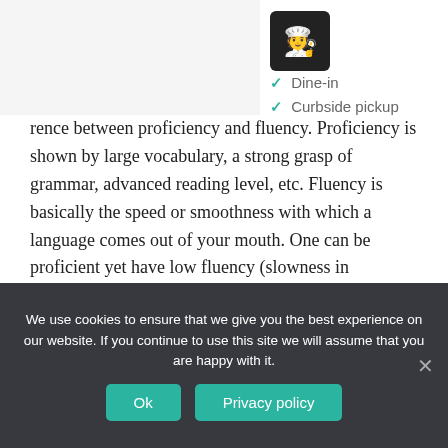[Figure (screenshot): Advertisement banner showing a restaurant logo with chef icon, checkmarks for Dine-in and Curbside pickup options, and ad controls (play and close buttons)]
rence between proficiency and fluency. Proficiency is shown by large vocabulary, a strong grasp of grammar, advanced reading level, etc. Fluency is basically the speed or smoothness with which a language comes out of your mouth. One can be proficient yet have low fluency (slowness in producing speech or impeded pronunciation). It is also possible to be fluent but not proficient. For instance, being able to speak Ìgbò but completely unable to read or write it.
We use cookies to ensure that we give you the best experience on our website. If you continue to use this site we will assume that you are happy with it.